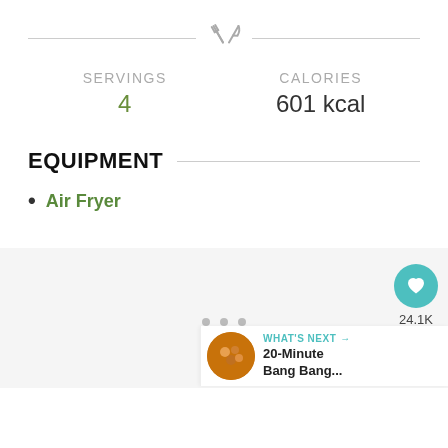[Figure (infographic): Fork and knife icon (crossed utensils) in gray, centered between two horizontal divider lines]
SERVINGS
4
CALORIES
601 kcal
EQUIPMENT
Air Fryer
24.1K
WHAT'S NEXT → 20-Minute Bang Bang...